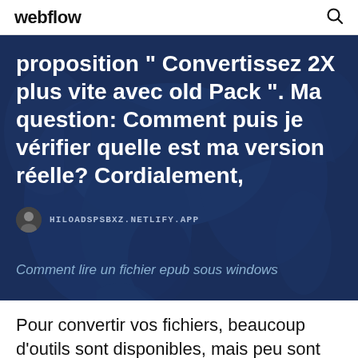webflow
proposition " Convertissez 2X plus vite avec old Pack ". Ma question: Comment puis je vérifier quelle est ma version réelle? Cordialement,
HILOADSPSBXZ.NETLIFY.APP
Comment lire un fichier epub sous windows
Pour convertir vos fichiers, beaucoup d'outils sont disponibles, mais peu sont ceux qui ont plus de fonctions autres